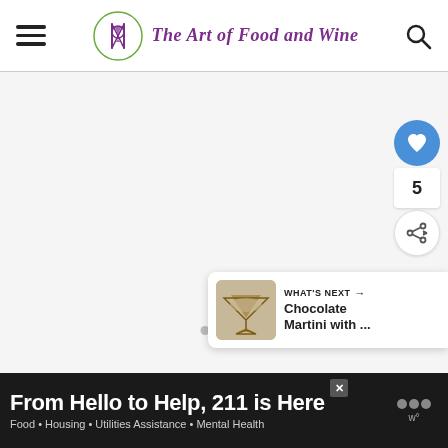The Art of Food and Wine
[Figure (screenshot): Main content area with light gray background and three dot indicators at the bottom center]
[Figure (infographic): Heart/like button (blue circle with heart icon), count of 5, and share button (white circle with share icon) on right sidebar]
[Figure (infographic): What's Next card showing thumbnail of chocolate martini drinks with text: WHAT'S NEXT → Chocolate Martini with ...]
[Figure (screenshot): Ad banner: From Hello to Help, 211 is Here. Food • Housing • Utilities Assistance • Mental Health]